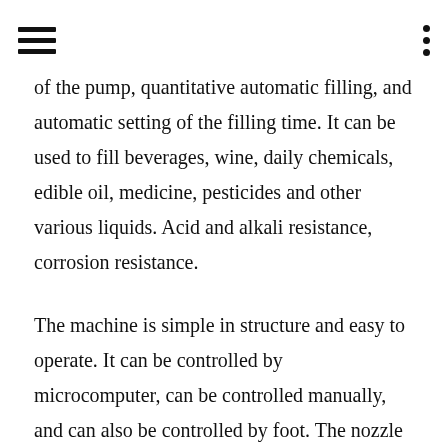[navigation icons]
of the pump, quantitative automatic filling, and automatic setting of the filling time. It can be used to fill beverages, wine, daily chemicals, edible oil, medicine, pesticides and other various liquids. Acid and alkali resistance, corrosion resistance.
The machine is simple in structure and easy to operate. It can be controlled by microcomputer, can be controlled manually, and can also be controlled by foot. The nozzle can be lengthened, and the hose can be moved at will for filling, which can meet the capacity of more than 5 grams. It is a reliable and durable filling equipment. It is often suitable for small businesses, small shops, homes, etc.